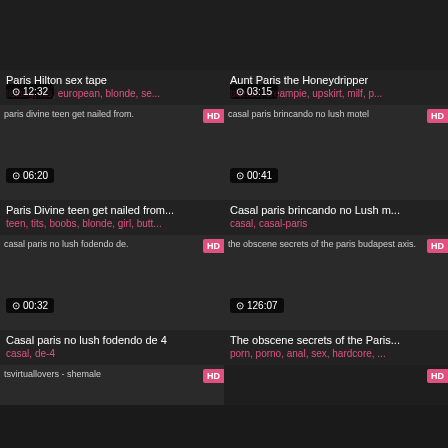[Figure (screenshot): Video thumbnail for Paris Hilton sex tape, duration 12:32]
Paris Hilton sex tape
licking, tits, european, blonde, se...
[Figure (screenshot): Video thumbnail for Aunt Paris the Honeydripper, duration 03:15]
Aunt Paris the Honeydripper
blonde, creampie, upskirt, milf, p...
[Figure (screenshot): paris divine teen get nailed HD thumbnail, duration 06:20]
Paris Divine teen get nailed from...
teen, tits, boobs, blonde, girl, butt...
[Figure (screenshot): casal paris brincando no lush motel HD thumbnail, duration 00:41]
Casal paris brincando no Lush m...
casal, casal-paris
[Figure (screenshot): casal paris no lush fodendo de HD thumbnail, duration 00:32]
Casal paris no lush fodendo de 4
casal, de-4
[Figure (screenshot): the obscene secrets of the paris budapest axis HD thumbnail, duration 126:07]
The obscene secrets of the Paris...
porn, porno, anal, sex, hardcore,...
[Figure (screenshot): tsvirtuallovers - shemale HD thumbnail partial]
[Figure (screenshot): Additional video thumbnail partial HD]